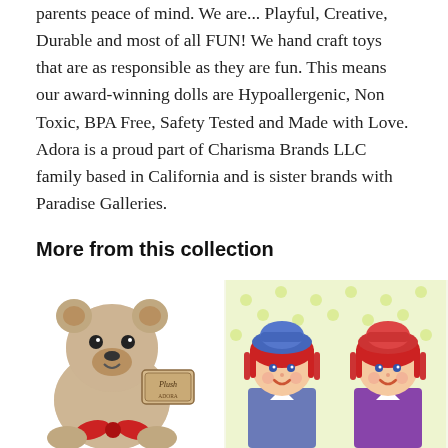parents peace of mind. We are... Playful, Creative, Durable and most of all FUN! We hand craft toys that are as responsible as they are fun. This means our award-winning dolls are Hypoallergenic, Non Toxic, BPA Free, Safety Tested and Made with Love. Adora is a proud part of Charisma Brands LLC family based in California and is sister brands with Paradise Galleries.
More from this collection
[Figure (photo): A plush teddy bear with curly light brown fur, wearing a red bow, with a tag that reads 'Plush']
[Figure (photo): Two Raggedy Ann style dolls with red yarn hair, painted faces, wearing blue and purple outfits, on a light green polka dot background]